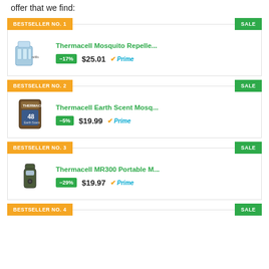offer that we find:
BESTSELLER NO. 1 | SALE | Thermacell Mosquito Repelle... | -17% | $25.01 | Prime
BESTSELLER NO. 2 | SALE | Thermacell Earth Scent Mosq... | -5% | $19.99 | Prime
BESTSELLER NO. 3 | SALE | Thermacell MR300 Portable M... | -29% | $19.97 | Prime
BESTSELLER NO. 4 | SALE